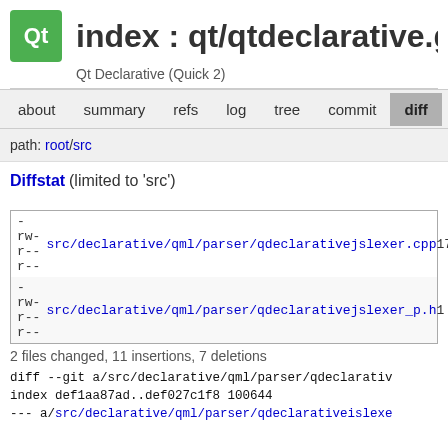index : qt/qtdeclarative.g
Qt Declarative (Quick 2)
about   summary   refs   log   tree   commit   diff   stat
path: root/src
Diffstat (limited to 'src')
diff options
context: 3
space: include
mode: unified
| permissions | file | count |
| --- | --- | --- |
| -rw-r--r-- | src/declarative/qml/parser/qdeclarativejslexer.cpp | 17 |
| -rw-r--r-- | src/declarative/qml/parser/qdeclarativejslexer_p.h | 1 |
2 files changed, 11 insertions, 7 deletions
diff --git a/src/declarative/qml/parser/qdeclarativ
index def1aa87ad..def027c1f8 100644
--- a/src/declarative/qml/parser/qdeclarativeislexe